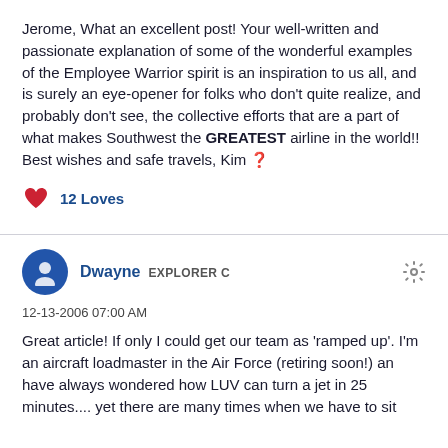Jerome, What an excellent post! Your well-written and passionate explanation of some of the wonderful examples of the Employee Warrior spirit is an inspiration to us all, and is surely an eye-opener for folks who don't quite realize, and probably don't see, the collective efforts that are a part of what makes Southwest the GREATEST airline in the world!! Best wishes and safe travels, Kim 🙂
12 Loves
Dwayne  EXPLORER C
12-13-2006 07:00 AM
Great article! If only I could get our team as 'ramped up'. I'm an aircraft loadmaster in the Air Force (retiring soon!) an have always wondered how LUV can turn a jet in 25 minutes.... yet there are many times when we have to sit